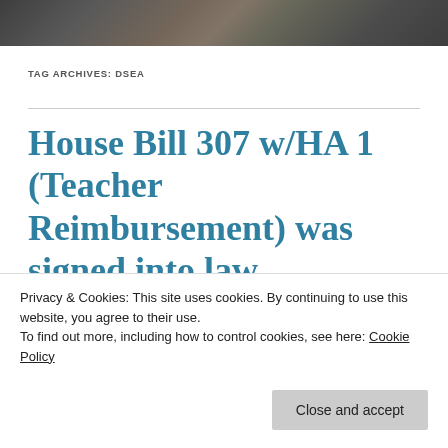[Figure (photo): Cropped photo showing people seated at a table, likely a legislative or committee meeting setting]
TAG ARCHIVES: DSEA
House Bill 307 w/HA 1 (Teacher Reimbursement) was signed into law
Privacy & Cookies: This site uses cookies. By continuing to use this website, you agree to their use.
To find out more, including how to control cookies, see here: Cookie Policy
becoming a teacher in a Delaware public school. Below is a